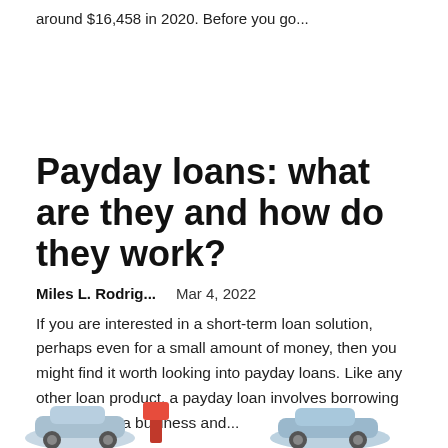around $16,458 in 2020. Before you go...
Payday loans: what are they and how do they work?
Miles L. Rodrig...    Mar 4, 2022
If you are interested in a short-term loan solution, perhaps even for a small amount of money, then you might find it worth looking into payday loans. Like any other loan product, a payday loan involves borrowing money from a business and...
[Figure (illustration): Partial illustration showing cars and a red element at the bottom of the page]